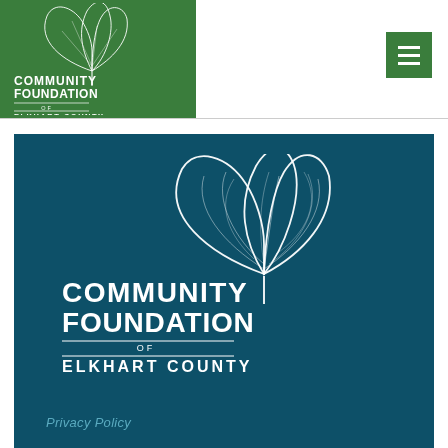[Figure (logo): Community Foundation of Elkhart County logo in green header box, top-left, with white ginkgo leaf illustration and white text]
[Figure (illustration): Green hamburger menu button, top-right corner]
[Figure (logo): Community Foundation of Elkhart County full logo centered in dark teal panel, large white ginkgo leaf and white text]
Privacy Policy